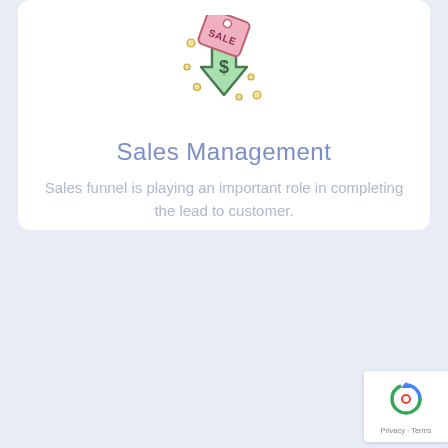[Figure (illustration): Sales management icon: a green downward arrow with a dollar sign, accompanied by a pink sale tag with sparkle dots around it]
Sales Management
Sales funnel is playing an important role in completing the lead to customer.
[Figure (logo): Google reCAPTCHA badge with blue circular arrow icon and Privacy - Terms text]